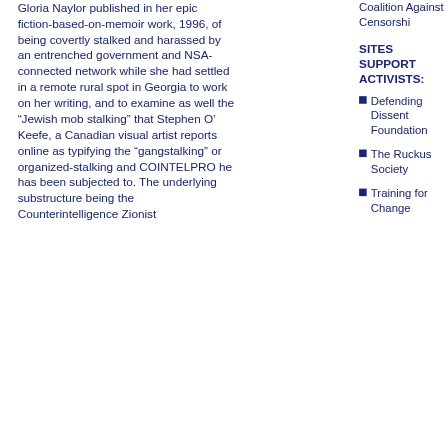Gloria Naylor published in her epic fiction-based-on-memoir work, 1996, of being covertly stalked and harassed by an entrenched government and NSA-connected network while she had settled in a remote rural spot in Georgia to work on her writing, and to examine as well the “Jewish mob stalking” that Stephen O’ Keefe, a Canadian visual artist reports online as typifying the “gangstalking” or organized-stalking and COINTELPRO he has been subjected to. The underlying substructure being the Counterintelligence Zionist
Coalition Against Censorshi
SITES SUPPORT ACTIVISTS:
Defending Dissent Foundation
The Ruckus Society
Training for Change